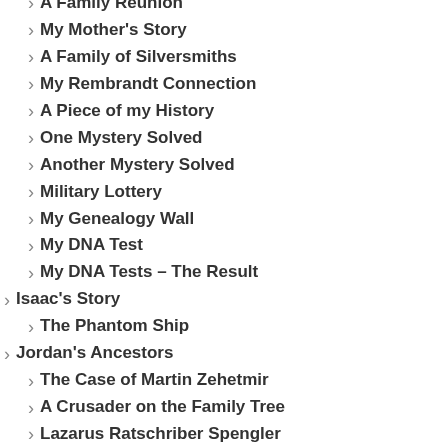A Family Reunion
My Mother's Story
A Family of Silversmiths
My Rembrandt Connection
A Piece of my History
One Mystery Solved
Another Mystery Solved
Military Lottery
My Genealogy Wall
My DNA Test
My DNA Tests – The Result
Isaac's Story
The Phantom Ship
Jordan's Ancestors
The Case of Martin Zehetmir
A Crusader on the Family Tree
Lazarus Ratschriber Spengler
Unrelated Mysteries
Who was Neil Simpson 1
Who was Neil Simpson 2